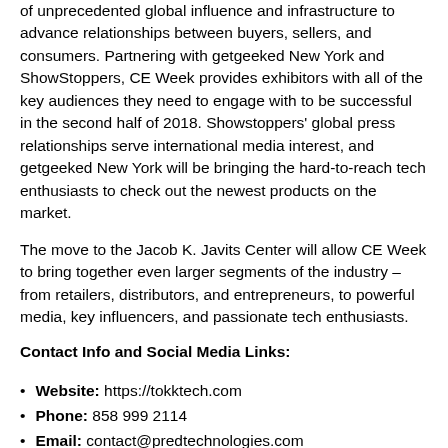of unprecedented global influence and infrastructure to advance relationships between buyers, sellers, and consumers. Partnering with getgeeked New York and ShowStoppers, CE Week provides exhibitors with all of the key audiences they need to engage with to be successful in the second half of 2018. Showstoppers' global press relationships serve international media interest, and getgeeked New York will be bringing the hard-to-reach tech enthusiasts to check out the newest products on the market.
The move to the Jacob K. Javits Center will allow CE Week to bring together even larger segments of the industry – from retailers, distributors, and entrepreneurs, to powerful media, key influencers, and passionate tech enthusiasts.
Contact Info and Social Media Links:
Website: https://tokktech.com
Phone: 858 999 2114
Email: contact@predtechnologies.com
Facebook: https://www.facebook.com/tokktech/